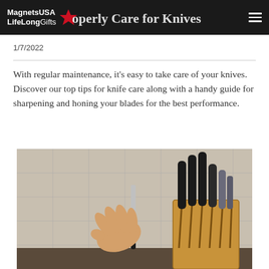MagnetsUSA LifeLongGifts — How to Properly Care for Knives
1/7/2022
How to Properly Care for Knives
With regular maintenance, it's easy to take care of your knives. Discover our top tips for knife care along with a handy guide for sharpening and honing your blades for the best performance.
[Figure (photo): A hand pulling a knife from a wooden knife block filled with black-handled kitchen knives, set on a kitchen counter with tiled backsplash.]